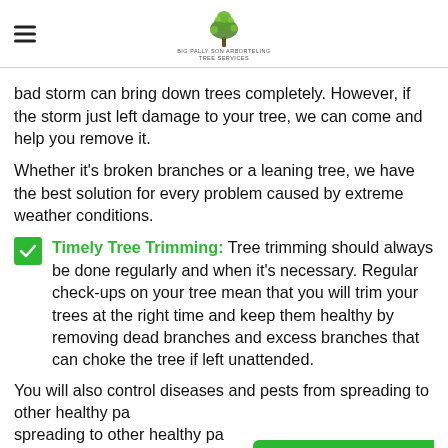Navigation menu and tree services logo
bad storm can bring down trees completely. However, if the storm just left damage to your tree, we can come and help you remove it.
Whether it's broken branches or a leaning tree, we have the best solution for every problem caused by extreme weather conditions.
Timely Tree Trimming: Tree trimming should always be done regularly and when it's necessary. Regular check-ups on your tree mean that you will trim your trees at the right time and keep them healthy by removing dead branches and excess branches that can choke the tree if left unattended.
You will also control diseases and pests from spreading to other healthy parts. If you want your tree to remain healthy, we suggest you should perform regular checkups in North
(512) 883 - 0298